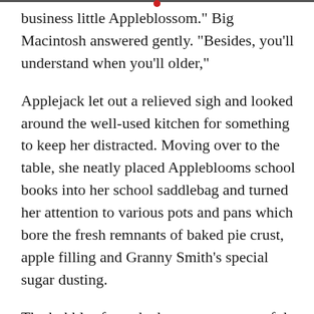business little Appleblossom." Big Macintosh answered gently. "Besides, you'll understand when you'll older,"
Applejack let out a relieved sigh and looked around the well-used kitchen for something to keep her distracted. Moving over to the table, she neatly placed Appleblooms school books into her school saddlebag and turned her attention to various pots and pans which bore the fresh remnants of baked pie crust, apple filling and Granny Smith's special sugar dusting.
The bubbles from the hot, soapy water of the kitchen sink popped against her nose and exploded in a sweet, lemony scent. As she vigorously scrubbed the last remaining pan in the water, the comments from her usually-quiet older brother played over and over in her